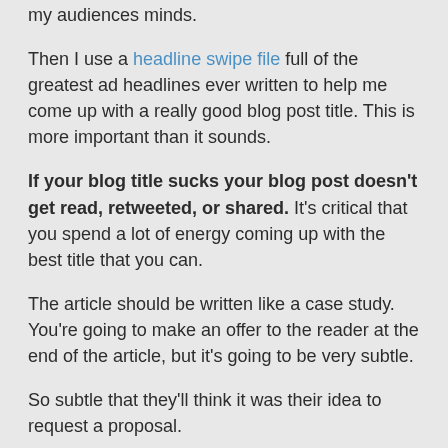my audiences minds.
Then I use a headline swipe file full of the greatest ad headlines ever written to help me come up with a really good blog post title. This is more important than it sounds.
If your blog title sucks your blog post doesn't get read, retweeted, or shared. It's critical that you spend a lot of energy coming up with the best title that you can.
The article should be written like a case study. You're going to make an offer to the reader at the end of the article, but it's going to be very subtle.
So subtle that they'll think it was their idea to request a proposal.
The case study should be about how you've solved the